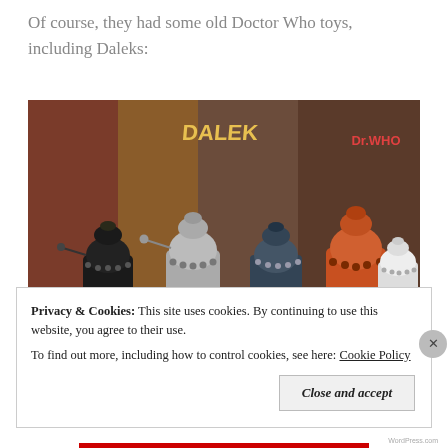Of course, they had some old Doctor Who toys, including Daleks:
[Figure (photo): Photograph of a collection of vintage Doctor Who Dalek toys on a shelf, with various Dalek figures in black, silver, blue, orange, and white colors, with Doctor Who branded packaging visible in the background.]
Privacy & Cookies:  This site uses cookies. By continuing to use this website, you agree to their use.
To find out more, including how to control cookies, see here: Cookie Policy
Close and accept